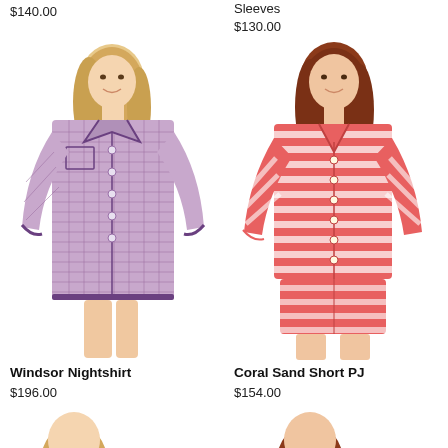$140.00
Sleeves
$130.00
[Figure (photo): Woman wearing a purple/lavender gingham check button-up nightshirt with long sleeves and dark trim]
[Figure (photo): Woman wearing a coral/pink striped short pajama set with long sleeve button-up top and shorts]
Windsor Nightshirt
$196.00
Coral Sand Short PJ
$154.00
[Figure (photo): Partial view of a woman's head at the bottom left, cropped]
[Figure (photo): Partial view of a woman's head at the bottom right, cropped]